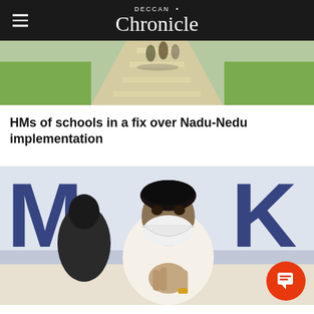DECCAN Chronicle
[Figure (photo): Outdoor school pathway with students walking, grass on both sides, sunlit]
HMs of schools in a fix over Nadu-Nedu implementation
[Figure (photo): Tamil Nadu CM MK Stalin wearing white mask, hands pressed together in namaste gesture, standing in front of a backdrop with large letters DMK]
Tamil Nadu CM tells MLAs to list 10 local demands